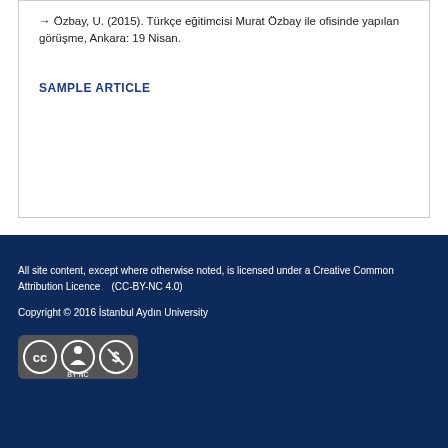→ Özbay, U. (2015). Türkçe eğitimcisi Murat Özbay ile ofisinde yapılan görüşme, Ankara: 19 Nisan.
SAMPLE ARTICLE
All site content, except where otherwise noted, is licensed under a Creative Common Attribution Licence    (CC-BY-NC 4.0)
Copyright © 2016 İstanbul Aydın University
[Figure (logo): Creative Commons CC BY NC license badge]